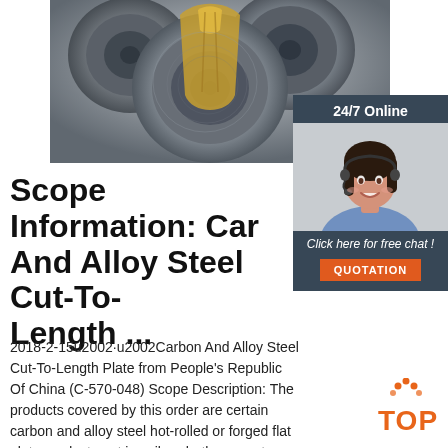[Figure (photo): Steel coils wrapped with yellow/gold binding straps, industrial rolled steel sheets]
[Figure (infographic): 24/7 Online chat widget with customer service representative photo, 'Click here for free chat!' text, and QUOTATION button]
Scope Information: Carbon And Alloy Steel Cut-To-Length ...
2018-2-15u2002·u2002Carbon And Alloy Steel Cut-To-Length Plate from People's Republic Of China (C-570-048) Scope Description: The products covered by this order are certain carbon and alloy steel hot-rolled or forged flat plate products not in coils, whether or not painted, varnished, or coated with plastics or other non-
[Figure (logo): Orange TOP logo with dot pattern above letters]